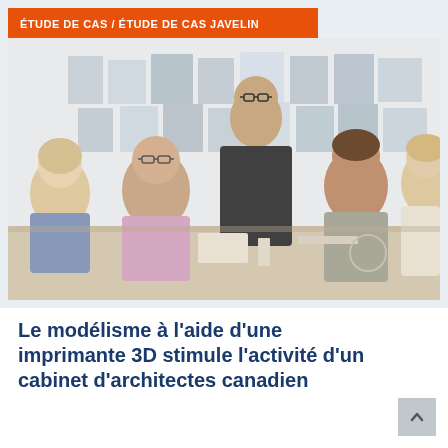ÉTUDE DE CAS / ÉTUDE DE CAS JAVELIN
[Figure (photo): Group of five people — four seated and one standing — gathered around a table in an architecture studio, reviewing blueprints and design drawings pinned to the wall behind them.]
Le modélisme à l'aide d'une imprimante 3D stimule l'activité d'un cabinet d'architectes canadien